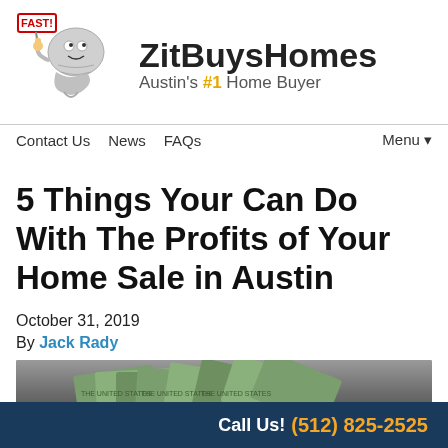[Figure (logo): ZitBuysHomes logo with cartoon tornado mascot holding a 'FAST!' sign, and brand name 'ZitBuysHomes' with tagline 'Austin's #1 Home Buyer']
Contact Us  News  FAQs    Menu▾
5 Things Your Can Do With The Profits of Your Home Sale in Austin
October 31, 2019
By Jack Rady
[Figure (photo): Photo of hands holding US dollar bills / cash money]
Call Us! (512) 825-2525